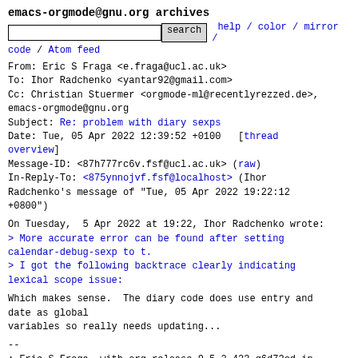emacs-orgmode@gnu.org archives
search  help / color / mirror / code / Atom feed
From: Eric S Fraga <e.fraga@ucl.ac.uk>
To: Ihor Radchenko <yantar92@gmail.com>
Cc: Christian Stuermer <orgmode-ml@recentlyrezzed.de>, emacs-orgmode@gnu.org
Subject: Re: problem with diary sexps
Date: Tue, 05 Apr 2022 12:39:52 +0100   [thread overview]
Message-ID: <87h777rc6v.fsf@ucl.ac.uk> (raw)
In-Reply-To: <875ynnojvf.fsf@localhost> (Ihor Radchenko's message of "Tue, 05 Apr 2022 19:22:12 +0800")
On Tuesday,  5 Apr 2022 at 19:22, Ihor Radchenko wrote:
> More accurate error can be found after setting calendar-debug-sexp to t.
> I got the following backtrace clearly indicating lexical scope issue:
Which makes sense.  The diary code does use entry and date as global
variables so really needs updating...
--
: Eric S Fraga, with org release_9.5.2-423-g6d73cd in Emacs 29.0.50